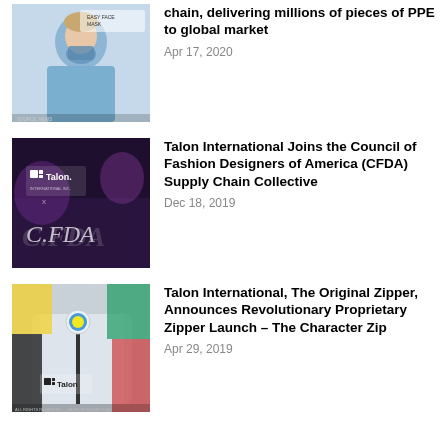[Figure (photo): Photo of a nurse wearing a blue surgical mask and scrubs]
chain, delivering millions of pieces of PPE to global market
Apr 17, 2020
[Figure (photo): Dark promotional image showing Talon International logo and CFDA logo text overlay]
Talon International Joins the Council of Fashion Designers of America (CFDA) Supply Chain Collective
Dec 18, 2019
[Figure (photo): Close-up of a gray puffer jacket with a Talon zipper and colorful character zip pull]
Talon International, The Original Zipper, Announces Revolutionary Proprietary Zipper Launch – The Character Zip
Apr 29, 2019